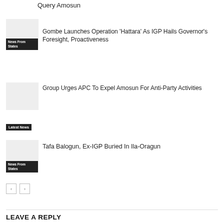Query Amosun
[Figure (photo): Thumbnail image with News From States tag]
Gombe Launches Operation ‘Hattara’ As IGP Hails Governor’s Foresight, Proactiveness
[Figure (photo): Thumbnail image with News From States tag]
Group Urges APC To Expel Amosun For Anti-Party Activities
[Figure (photo): Thumbnail image with Latest News tag]
Tafa Balogun, Ex-IGP Buried In Ila-Oragun
[Figure (photo): Thumbnail image with News From States tag]
< >
LEAVE A REPLY